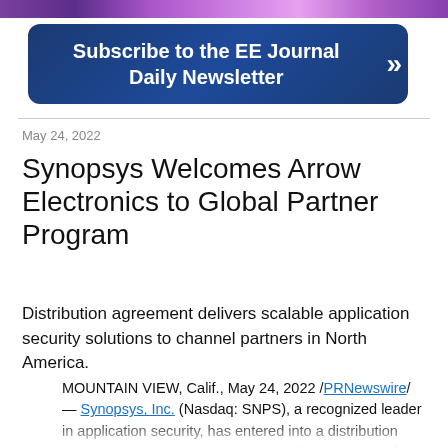[Figure (other): Purple gradient banner bar at top of page]
[Figure (other): Dark blue rounded banner with text: Subscribe to the EE Journal Daily Newsletter with double right-arrow icon]
May 24, 2022
Synopsys Welcomes Arrow Electronics to Global Partner Program
Distribution agreement delivers scalable application security solutions to channel partners in North America.
MOUNTAIN VIEW, Calif., May 24, 2022 /PRNewswire/ — Synopsys, Inc. (Nasdaq: SNPS), a recognized leader in application security, has entered into a distribution agreement with Arrow Electronics, a Fortune 102 value-added distributor to offer Synopsys Software Integrity